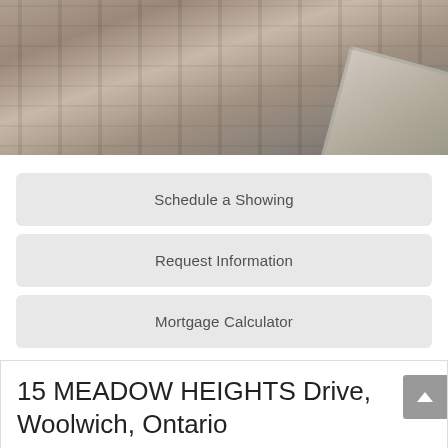[Figure (photo): Top portion of a real estate website showing a photo of weathered wood/roofing material with a metallic edge visible]
Schedule a Showing
Request Information
Mortgage Calculator
15 MEADOW HEIGHTS Drive, Woolwich, Ontario
[Figure (photo): Exterior photo of a house at 15 Meadow Heights Drive, Woolwich, Ontario; red/brown peaked roof visible through green summer trees against a blue sky]